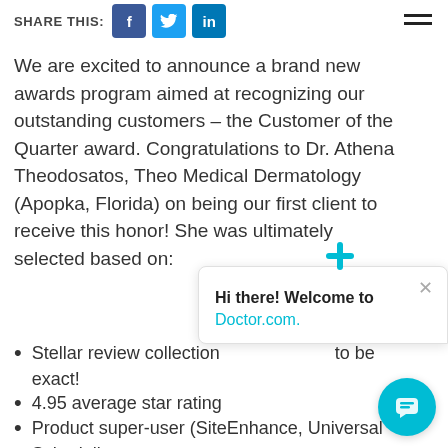SHARE THIS: [Facebook] [Twitter] [LinkedIn]
We are excited to announce a brand new awards program aimed at recognizing our outstanding customers – the Customer of the Quarter award. Congratulations to Dr. Athena Theodosatos, Theo Medical Dermatology (Apopka, Florida) on being our first client to receive this honor! She was ultimately selected based on:
Stellar review collection to be exact!
4.95 average star rating
Product super-user (SiteEnhance, Universal Scheduling, ReviewRequest)
[Figure (screenshot): Chat popup overlay with Doctor.com branding: teal cross icon, close button (×), bold text 'Hi there! Welcome to', and teal hyperlink 'Doctor.com.' below. A teal circular chat button is visible in the bottom-right corner.]